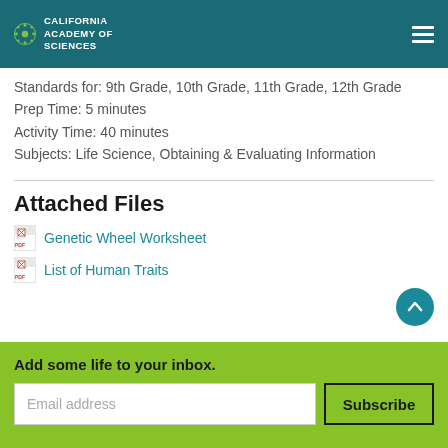California Academy of Sciences
Standards for: 9th Grade, 10th Grade, 11th Grade, 12th Grade
Prep Time: 5 minutes
Activity Time: 40 minutes
Subjects: Life Science, Obtaining & Evaluating Information
Attached Files
Genetic Wheel Worksheet
List of Human Traits
Add some life to your inbox.